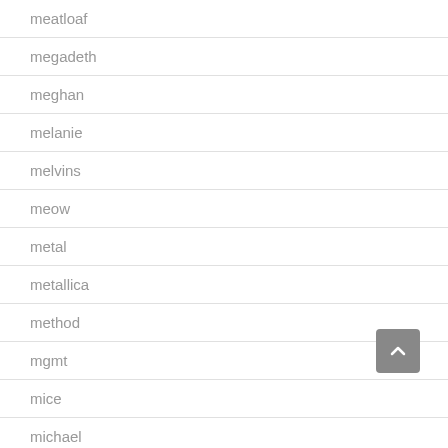meatloaf
megadeth
meghan
melanie
melvins
meow
metal
metallica
method
mgmt
mice
michael